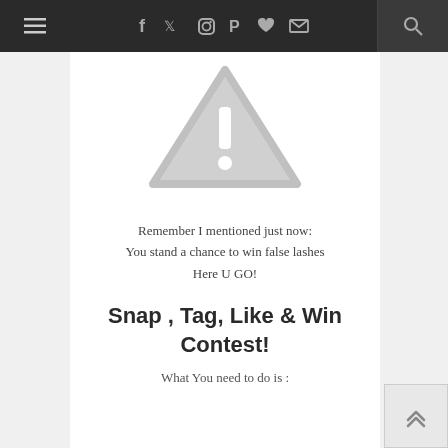≡  f  𝕏  📷  𝒫  ♥  ✉  🔍
[Figure (illustration): Gray warning/caution triangle icon with exclamation mark]
Remember I mentioned just now:
You stand a chance to win false lashes
Here U GO!
Snap , Tag, Like & Win Contest!
What You need to do is :